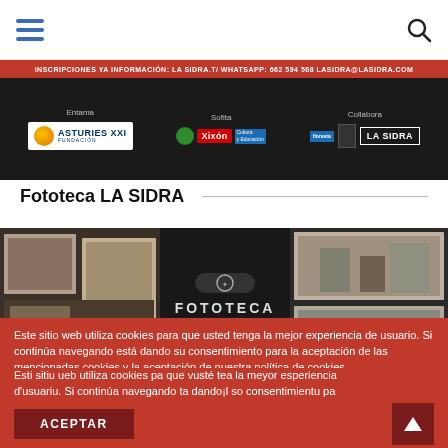Navigation bar with hamburger menu and search icon
[Figure (screenshot): Banner with red info bar (INSCRIPCIONES YA INFORMACIÓN: LA SIDRA.T/ WHATSAPP: 662 594 568...) and sponsor logos: Entama - Asturies XXI Fundación; Sofita - Xixón Cultura y Educación; Collabora - floresta and LA SIDRA]
Fototeca LA SIDRA
[Figure (screenshot): Fototeca LA SIDRA promotional collage — old black and white photographs arranged around central text 'FOTOTECA LA SIDRA']
Usamos cookies en nuestro sitio web para brindarle la experiencia más relevante recordando sus preferencias y
Este sitio web utiliza cookies para que usted tenga la mejor experiencia de usuario. Si continúa navegando está dando su consentimiento para la aceptación de las mencionadas cookies y la aceptación de nuestra política de cookies.
Esti sitiu ueb utiliza cookies pa que vusté tea la meyor esperiencia d'usuariu. Si continúa navegando ta dando¡l so consentimientu pa l'aceptación de les mencionaes cookies y l'aceptación de la nuesa política de cookies.
ACEPTAR